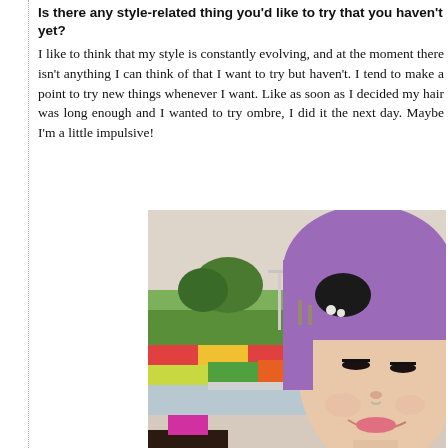Is there any style-related thing you'd like to try that you haven't yet?
I like to think that my style is constantly evolving, and at the moment there isn't anything I can think of that I want to try but haven't. I tend to make a point to try new things whenever I want. Like as soon as I decided my hair was long enough and I wanted to try ombre, I did it the next day. Maybe I'm a little impulsive!
[Figure (photo): A woman with short purple hair and a black hair accessory with white flowers, smiling downward. In the background is a colorful flower garden with a fountain and green trees.]